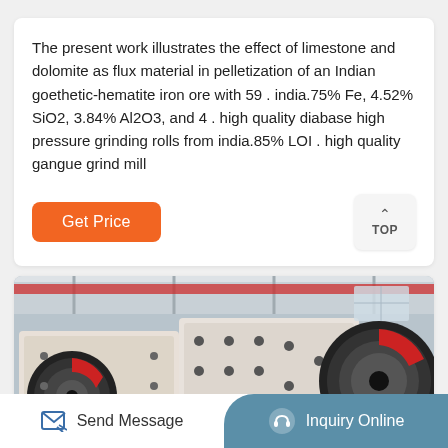The present work illustrates the effect of limestone and dolomite as flux material in pelletization of an Indian goethetic-hematite iron ore with 59 . india.75% Fe, 4.52% SiO2, 3.84% Al2O3, and 4 . high quality diabase high pressure grinding rolls from india.85% LOI . high quality gangue grind mill
[Figure (other): Orange 'Get Price' button on the left and a 'TOP' back-to-top button on the right]
[Figure (photo): Industrial jaw crusher machines in a factory setting, showing large mechanical crushing equipment with flywheels, in white/cream metallic color with red accents]
Send Message
Inquiry Online